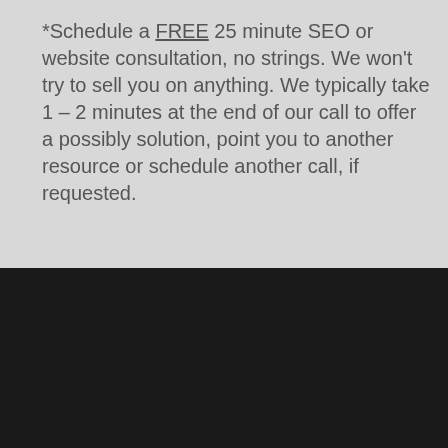*Schedule a FREE 25 minute SEO or website consultation, no strings. We won't try to sell you on anything. We typically take 1 – 2 minutes at the end of our call to offer a possibly solution, point you to another resource or schedule another call, if requested.